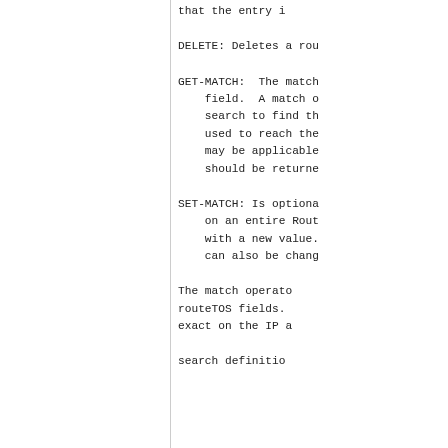that the entry i
DELETE: Deletes a rou
GET-MATCH:  The match field.  A match o search to find th used to reach the may be applicable should be returne
SET-MATCH: Is optiona on an entire Rout with a new value. can also be chang
The match operato routeTOS fields. exact on the IP a
search definitio